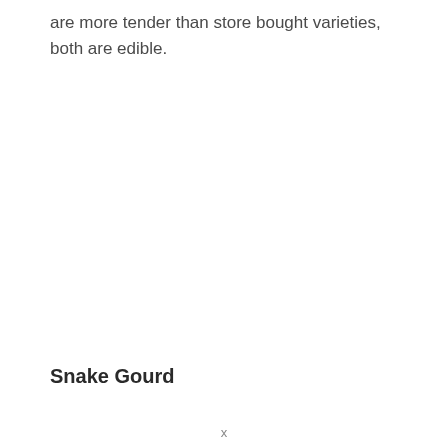are more tender than store bought varieties, both are edible.
Snake Gourd
x